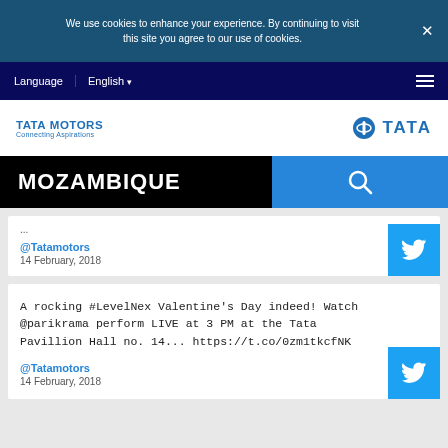We use cookies to enhance your experience. By continuing to visit this site you agree to our use of cookies.
Language  English
[Figure (logo): Tata Motors logo with 'Connecting Aspirations' tagline and Tata group logo on the right]
MOZAMBIQUE
@Tatamotors
14 February, 2018
A rocking #LevelNex Valentine's Day indeed! Watch @parikrama perform LIVE at 3 PM at the Tata Pavillion Hall no. 14... https://t.co/0zm1tkcfNK
@Tatamotors
14 February, 2018